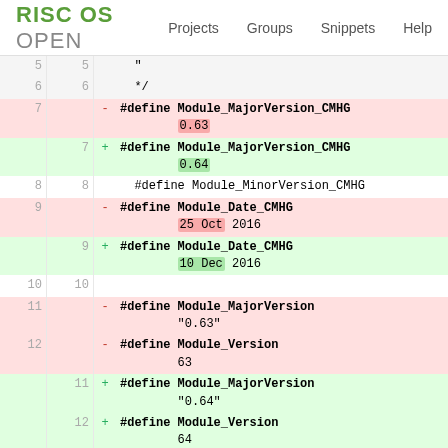RISC OS OPEN  Projects  Groups  Snippets  Help
| old_ln | new_ln | diff |
| --- | --- | --- |
| 5 | 5 |   " |
| 6 | 6 |   */ |
| 7 |  | -  #define Module_MajorVersion_CMHG
        0.63 |
|  | 7 | +  #define Module_MajorVersion_CMHG
        0.64 |
| 8 | 8 |   #define Module_MinorVersion_CMHG |
| 9 |  | -  #define Module_Date_CMHG
        25 Oct 2016 |
|  | 9 | +  #define Module_Date_CMHG
        10 Dec 2016 |
| 10 | 10 |  |
| 11 |  | -  #define Module_MajorVersion
        "0.63" |
| 12 |  | -  #define Module_Version
        63 |
|  | 11 | +  #define Module_MajorVersion
        "0.64" |
|  | 12 | +  #define Module_Version
        64 |